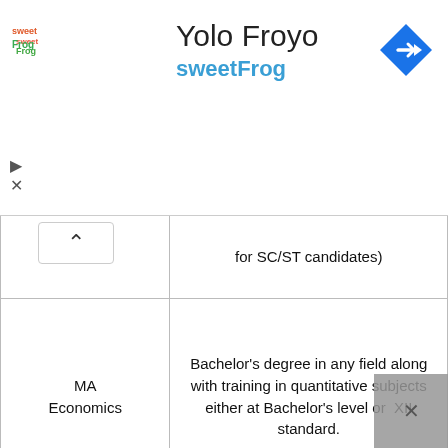[Figure (other): Ad banner: sweetFrog logo, 'Yolo Froyo' heading, 'sweetFrog' subtitle, navigation turn arrow icon top right, play and close controls on left]
| Program | Eligibility |
| --- | --- |
|  | for SC/ST candidates) |
| MA Economics | Bachelor's degree in any field along with training in quantitative subjects either at Bachelor's level or XII standard. |
| MCA | Must possess a BCA degree from a recognized university with Mathematics in XII or Graduation as a mandatory subject |